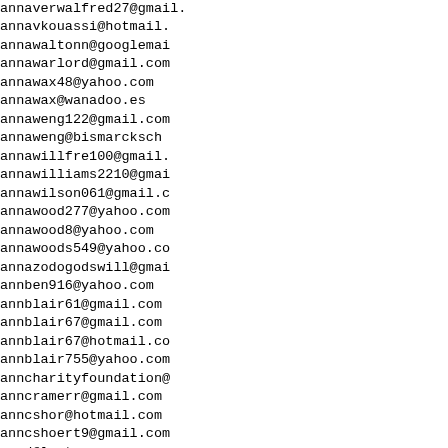annaverwalfred27@gmail.
annavkouassi@hotmail.
annawaltonn@googlemai
annawarlord@gmail.com
annawax48@yahoo.com
annawax@wanadoo.es
annaweng122@gmail.com
annaweng@bismarcksch
annawillfre100@gmail.
annawilliams2210@gmai
annawilson061@gmail.c
annawood277@yahoo.com
annawood8@yahoo.com
annawoods549@yahoo.co
annazodogodswill@gmai
annben916@yahoo.com
annblair61@gmail.com
annblair67@gmail.com
annblair67@hotmail.co
annblair755@yahoo.com
anncharityfoundation@
anncramerr@gmail.com
anncshor@hotmail.com
anncshoert9@gmail.com
annd@leutenegger.com.
anndavi8@yahoo.com
anndeafxx1@gmail.com
anndennis009@gmail.co
anndipietro6@gmail.co
anndkubu@rediffmail.c